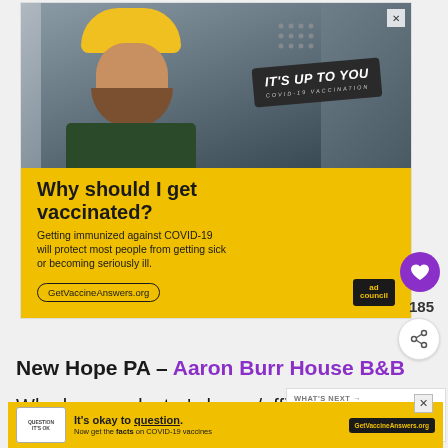[Figure (photo): Advertisement banner: Man with yellow hard hat and beard. Yellow background with text 'Why should I get vaccinated?' and COVID-19 vaccination information. GetVaccineAnswers.org URL and Ad Council logo.]
New Hope PA – Aaron Burr House B&B
Who knew a doctor's home/office with s...
could turn into a wonderful, luxury, design-forward
[Figure (photo): Bottom advertisement: Yellow background. Stamp with questions. Text 'It's okay to question. Now get the facts on COVID-19 vaccines GetVaccineAnswers.org']